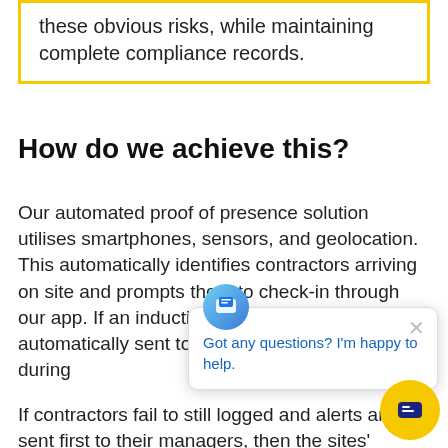these obvious risks, while maintaining complete compliance records.
How do we achieve this?
Our automated proof of presence solution utilises smartphones, sensors, and geolocation. This automatically identifies contractors arriving on site and prompts them to check-in through our app. If an induction is required it will be automatically sent to their phone complete it during
If contractors fail to still logged and alerts are sent first to their managers, then the sites' property managers giving the site managers the ability to follow up with them remotely. Taking human